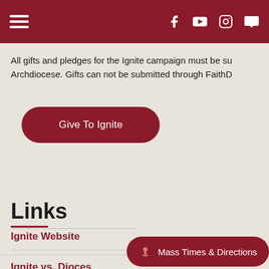Navigation bar with hamburger menu and social icons (Facebook, YouTube, Instagram, chat)
All gifts and pledges for the Ignite campaign must be su Archdiocese. Gifts can not be submitted through FaithD
[Figure (other): Dark red rounded button labeled 'Give To Ignite']
Links
Ignite Website
Ignite vs. Dioces
[Figure (other): Dark red rounded button labeled 'Mass Times & Directions' with chalice icon]